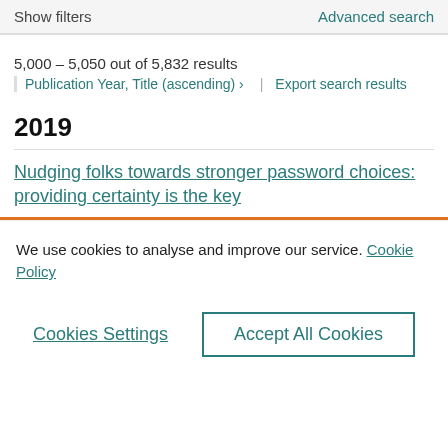Show filters | Advanced search
5,000 - 5,050 out of 5,832 results
Publication Year, Title (ascending) › | Export search results
2019
Nudging folks towards stronger password choices: providing certainty is the key
We use cookies to analyse and improve our service. Cookie Policy
Cookies Settings | Accept All Cookies